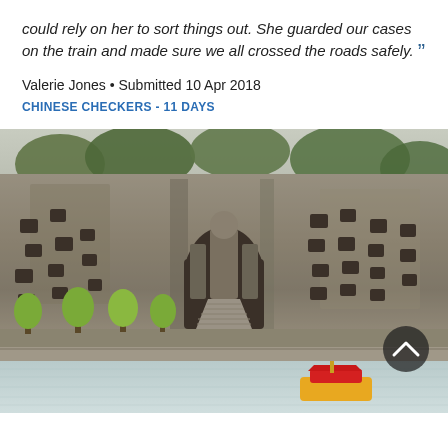could rely on her to sort things out. She guarded our cases on the train and made sure we all crossed the roads safely. ”
Valerie Jones • Submitted 10 Apr 2018
CHINESE CHECKERS - 11 DAYS
[Figure (photo): Photo of ancient Chinese rock-carved Buddha grottoes (likely Longmen Grottoes), showing massive stone cliffs with carved niches and Buddha figures, a grand staircase leading up to the central Buddha, green trees along the base, and a river in the foreground with a small boat. A circular scroll-up button overlay is visible in the lower right.]